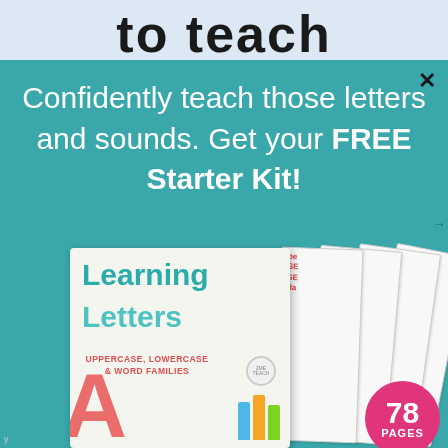to teach
Confidently teach those letters and sounds. Get your FREE Starter Kit!
[Figure (illustration): A Learning Letters book cover showing 'Learning Letters, Uppercase, Lowercase & Word Families' with a large letter A, crayons, and stacked worksheet pages behind it. A pink circular badge reads '78 PAGES'.]